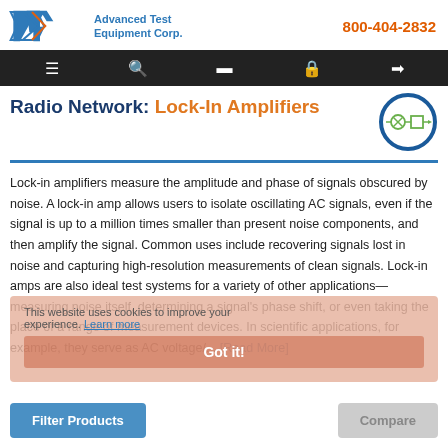Advanced Test Equipment Corp. | 800-404-2832
Radio Network: Lock-In Amplifiers
[Figure (schematic): Circuit schematic icon showing a multiplier and filter symbol inside a blue circle]
Lock-in amplifiers measure the amplitude and phase of signals obscured by noise. A lock-in amp allows users to isolate oscillating AC signals, even if the signal is up to a million times smaller than present noise components, and then amplify the signal. Common uses include recovering signals lost in noise and capturing high-resolution measurements of clean signals. Lock-in amps are also ideal test systems for a variety of other applications—measuring noise itself, determining a signal's phase shift, or even taking the place of a range of measurement devices. In scientific applications, for example, they serve as AC voltage/... [Read More]